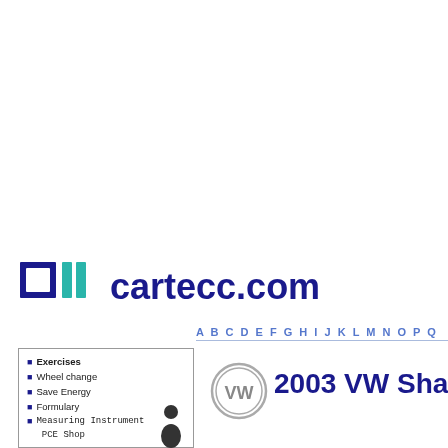[Figure (logo): cartecc.com logo with dark blue square icon and vertical bars]
A B C D E F G H I J K L M N O P Q
Exercises
Wheel change
Save Energy
Formulary
Measuring Instrument PCE Shop
[Figure (logo): VW Volkswagen logo circle]
2003 VW Sha